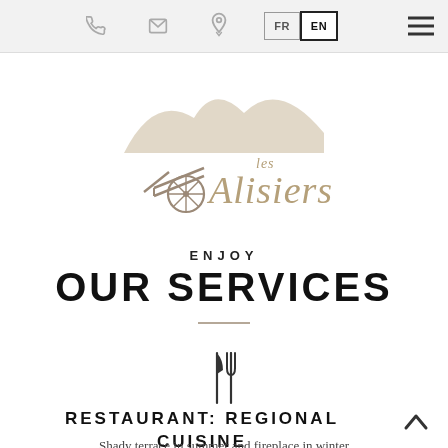FR | EN navigation bar with phone, email, location icons and hamburger menu
[Figure (logo): Les Alisiers logo: mountain silhouette above an old wooden cart wheel with decorative script text reading 'les Alisiers', in tan/beige color]
ENJOY
OUR SERVICES
[Figure (illustration): Cutlery icon: fork and knife outline in dark grey]
RESTAURANT: REGIONAL CUISINE
Shady terrace in summer and fireplace in winter